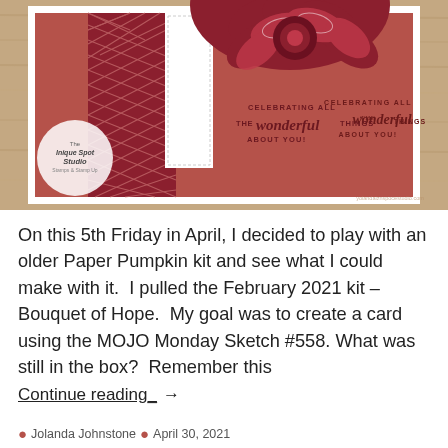[Figure (photo): A handmade card using Stampin' Up Paper Pumpkin Bouquet of Hope kit. The card features dark red/crimson color scheme with herringbone patterned paper, a white stitched panel, a large fabric rosette/bow at the top center, and stamped text reading CELEBRATING ALL THE wonderful THINGS ABOUT YOU! The card is photographed on a wood grain surface. A circular watermark logo for 'The Inique Spot Studio' is visible.]
On this 5th Friday in April, I decided to play with an older Paper Pumpkin kit and see what I could make with it.  I pulled the February 2021 kit – Bouquet of Hope.  My goal was to create a card using the MOJO Monday Sketch #558. What was still in the box?  Remember this
Continue reading_ →
Jolanda Johnstone   April 30, 2021